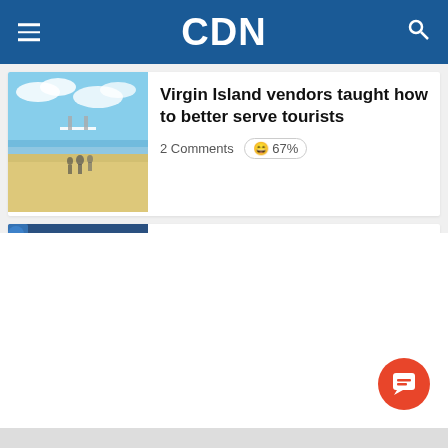CDN
[Figure (photo): Beach scene with people and a structure on white sand, blue sky and water]
Virgin Island vendors taught how to better serve tourists
2 Comments 😄 67%
[Figure (photo): BSP (Bangko Sentral ng Pilipinas) sign/building with decorative elements]
Central bank introduces coin deposit machines
1 Comment 😐 67%
[Figure (photo): Partial view of port/harbor area with red structures]